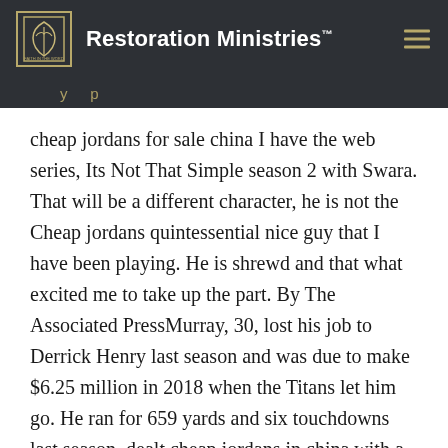Restoration Ministries
cheap jordans for sale china I have the web series, Its Not That Simple season 2 with Swara. That will be a different character, he is not the Cheap jordans quintessential nice guy that I have been playing. He is shrewd and that what excited me to take up the part. By The Associated PressMurray, 30, lost his job to Derrick Henry last season and was due to make $6.25 million in 2018 when the Titans let him go. He ran for 659 yards and six touchdowns last season, dealt cheap jordans in china with a knee injury late in the year, and